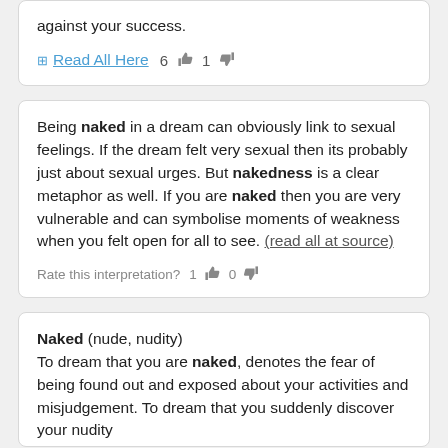against your success.
Read All Here  6  1
Being naked in a dream can obviously link to sexual feelings. If the dream felt very sexual then its probably just about sexual urges. But nakedness is a clear metaphor as well. If you are naked then you are very vulnerable and can symbolise moments of weakness when you felt open for all to see. (read all at source)
Rate this interpretation? 1  0
Naked (nude, nudity) To dream that you are naked, denotes the fear of being found out and exposed about your activities and misjudgement. To dream that you suddenly discover your nudity